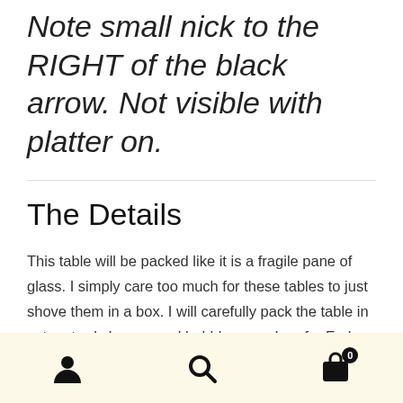Note small nick to the RIGHT of the black arrow. Not visible with platter on.
The Details
This table will be packed like it is a fragile pane of glass. I simply care too much for these tables to just shove them in a box. I will carefully pack the table in extra sturdy boxes. and bubble wrap. I prefer Fedex Ground. Lastly, I am truly not in this for the money. What I love best is introducing someone new to the joys of vinyl, getting someone back into
Navigation bar with user, search, and cart icons